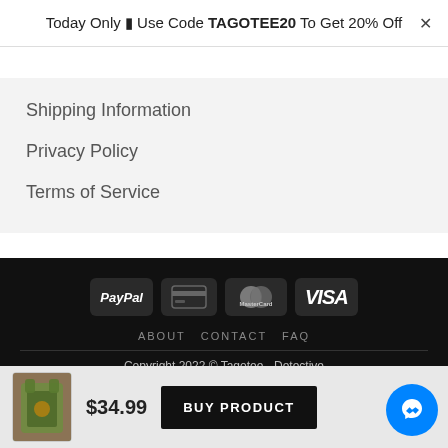Today Only ▶ Use Code TAGOTEE20 To Get 20% Off
Shipping Information
Privacy Policy
Terms of Service
[Figure (logo): Payment method icons: PayPal, credit card, MasterCard, VISA on dark rounded badges]
ABOUT   CONTACT   FAQ
Copyright 2022 © Tagotee - Detective
New store: Beutee shop - Big Metro Store
$34.99
BUY PRODUCT
[Figure (photo): Small product thumbnail of a Hawaiian shirt]
[Figure (logo): Blue circular Facebook Messenger chat button]